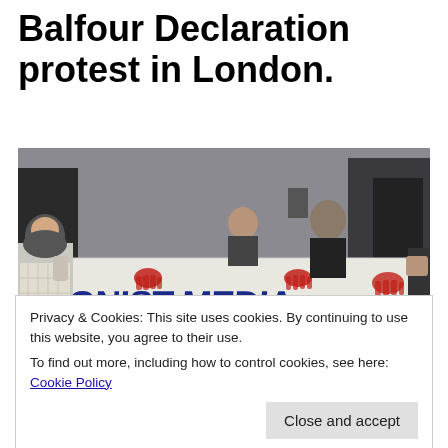Balfour Declaration protest in London.
[Figure (photo): Protesters holding a banner that reads 'ZIONIST MEDIA COVER UP' with red handprints on it, taken at a protest in London. A woman wearing a hijab is visible on the left.]
Privacy & Cookies: This site uses cookies. By continuing to use this website, you agree to their use.
To find out more, including how to control cookies, see here: Cookie Policy
Close and accept
*Th i i M li D l ti i L d i i d